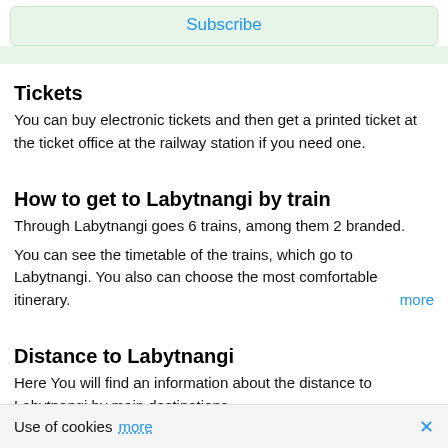Subscribe
Tickets
You can buy electronic tickets and then get a printed ticket at the ticket office at the railway station if you need one.
How to get to Labytnangi by train
Through Labytnangi goes 6 trains, among them 2 branded.
You can see the timetable of the trains, which go to Labytnangi. You also can choose the most comfortable itinerary. more
Distance to Labytnangi
Here You will find an information about the distance to Labytnangi by main destinations.
Use of cookies more